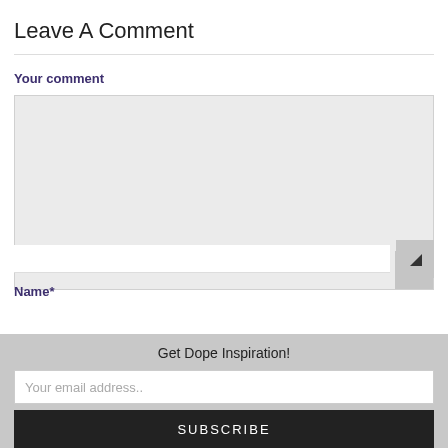Leave A Comment
Your comment
[Figure (screenshot): Comment textarea input field with light gray background and resize handle]
Name*
Get Dope Inspiration!
Your email address..
SUBSCRIBE